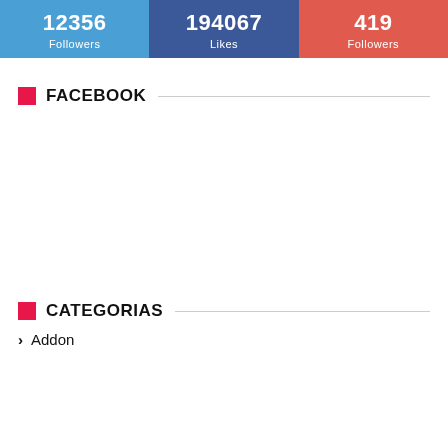[Figure (infographic): Three social media stat boxes: Twitter 12356 Followers (blue), Facebook 194067 Likes (dark blue), Google+ 419 Followers (red)]
FACEBOOK
CATEGORIAS
Addon